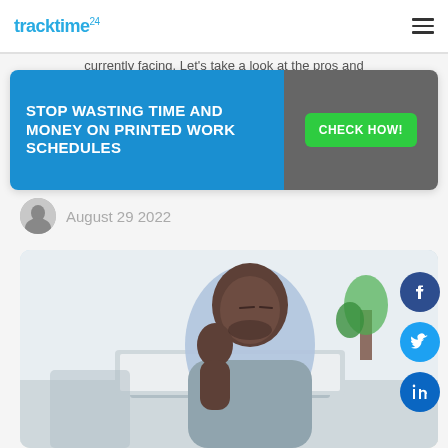tracktime24
currently facing. Lets take a look at the pros and
[Figure (infographic): Ad banner: 'STOP WASTING TIME AND MONEY ON PRINTED WORK SCHEDULES' with 'CHECK HOW!' button]
August 29 2022
[Figure (photo): Man looking bored/tired resting his chin on his hand while looking at a laptop screen]